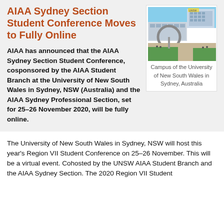AIAA Sydney Section Student Conference Moves to Fully Online
AIAA has announced that the AIAA Sydney Section Student Conference, cosponsored by the AIAA Student Branch at the University of New South Wales in Sydney, NSW (Australia) and the AIAA Sydney Professional Section, set for 25–26 November 2020, will be fully online.
[Figure (photo): Campus of the University of New South Wales in Sydney, Australia — outdoor area with circular sculpture and university buildings in background]
Campus of the University of New South Wales in Sydney, Australia
The University of New South Wales in Sydney, NSW will host this year's Region VII Student Conference on 25–26 November. This will be a virtual event. Cohosted by the UNSW AIAA Student Branch and the AIAA Sydney Section. The 2020 Region VII Student